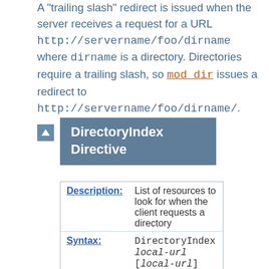A "trailing slash" redirect is issued when the server receives a request for a URL http://servername/foo/dirname where dirname is a directory. Directories require a trailing slash, so mod_dir issues a redirect to http://servername/foo/dirname/.
DirectoryIndex Directive
|  |  |
| --- | --- |
| Description: | List of resources to look for when the client requests a directory |
| Syntax: | DirectoryIndex local-url [local-url] ... |
| Default: | DirectoryIndex index.html |